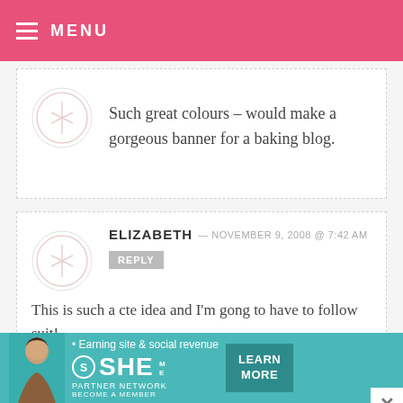MENU
Such great colours – would make a gorgeous banner for a baking blog.
ELIZABETH — NOVEMBER 9, 2008 @ 7:42 AM
REPLY
This is such a cte idea and I'm gong to have to follow suit!
BAKERELLA — NOVEMBER 9, 2008 @ 4:47 AM
[Figure (infographic): SHE Partner Network advertisement banner with teal background, woman photo, tagline 'Earning site & social revenue', SHE logo, and LEARN MORE button]